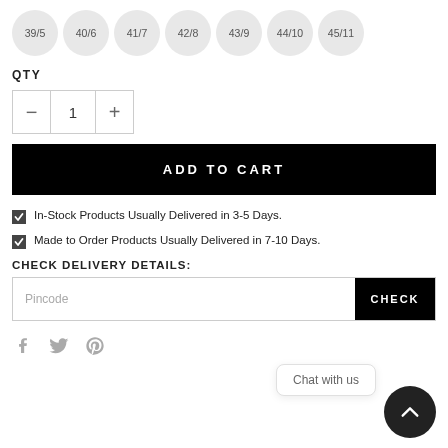39/5 40/6 41/7 42/8 43/9 44/10 45/11 (size options)
QTY
− 1 +
ADD TO CART
In-Stock Products Usually Delivered in 3-5 Days.
Made to Order Products Usually Delivered in 7-10 Days.
CHECK DELIVERY DETAILS:
Pincode
CHECK
Chat with us